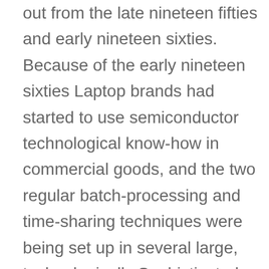out from the late nineteen fifties and early nineteen sixties. Because of the early nineteen sixties Laptop brands had started to use semiconductor technological know-how in commercial goods, and the two regular batch-processing and time-sharing techniques were being set up in several large, technologically Sophisticated organizations. Time-sharing techniques permitted a computer's assets for being shared in speedy succession with a number of consumers, cycling with the queue of consumers so speedily that the computer appeared focused on Just about every consumer's responsibilities Regardless of the existence of many Other folks accessing the